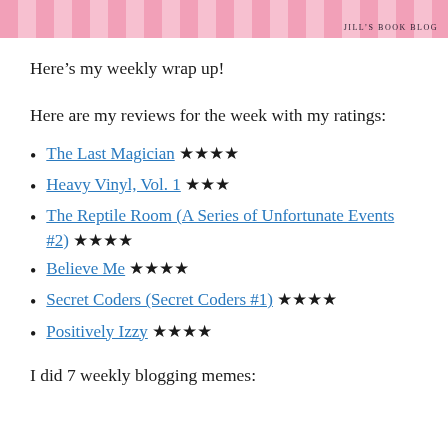JILL'S BOOK BLOG
Here’s my weekly wrap up!
Here are my reviews for the week with my ratings:
The Last Magician ★★★★
Heavy Vinyl, Vol. 1 ★★★
The Reptile Room (A Series of Unfortunate Events #2) ★★★★
Believe Me ★★★★
Secret Coders (Secret Coders #1) ★★★★
Positively Izzy ★★★★
I did 7 weekly blogging memes: